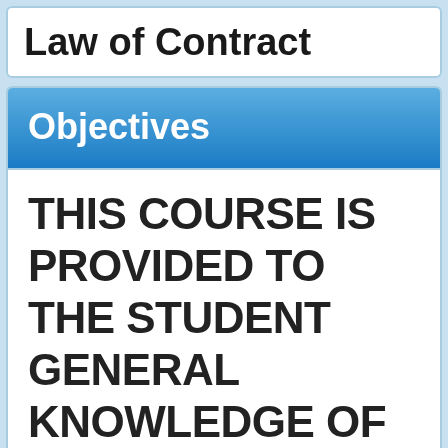Law of Contract
Objectives
THIS COURSE IS PROVIDED TO THE STUDENT GENERAL KNOWLEDGE OF THE EMPLOYER